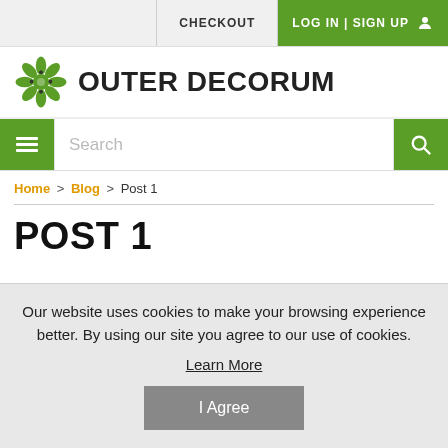CHECKOUT | LOG IN | SIGN UP
[Figure (logo): Outer Decorum logo with green flower icon and bold text 'OUTER DECORUM']
Search
Home > Blog > Post 1
POST 1
Our website uses cookies to make your browsing experience better. By using our site you agree to our use of cookies.
Learn More
I Agree